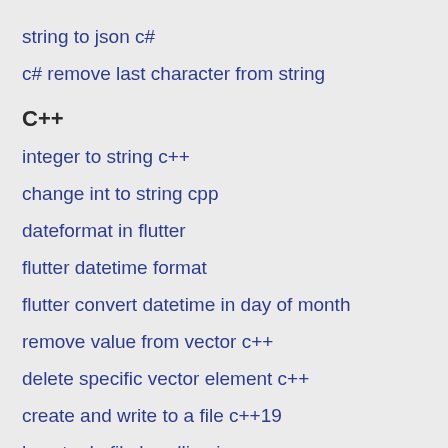string to json c#
c# remove last character from string
C++
integer to string c++
change int to string cpp
dateformat in flutter
flutter datetime format
flutter convert datetime in day of month
remove value from vector c++
delete specific vector element c++
create and write to a file c++19
how to do file handling in c++
how to output to a file in c++
file object in c++